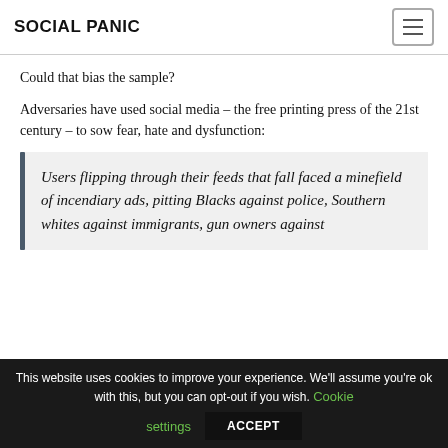SOCIAL PANIC
Could that bias the sample?
Adversaries have used social media – the free printing press of the 21st century – to sow fear, hate and dysfunction:
Users flipping through their feeds that fall faced a minefield of incendiary ads, pitting Blacks against police, Southern whites against immigrants, gun owners against...
This website uses cookies to improve your experience. We'll assume you're ok with this, but you can opt-out if you wish. Cookie settings ACCEPT